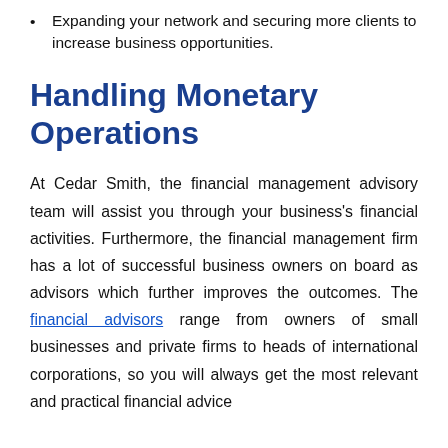Expanding your network and securing more clients to increase business opportunities.
Handling Monetary Operations
At Cedar Smith, the financial management advisory team will assist you through your business's financial activities. Furthermore, the financial management firm has a lot of successful business owners on board as advisors which further improves the outcomes. The financial advisors range from owners of small businesses and private firms to heads of international corporations, so you will always get the most relevant and practical financial advice